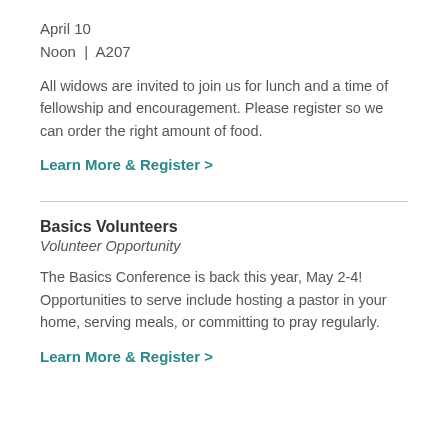April 10
Noon  |  A207
All widows are invited to join us for lunch and a time of fellowship and encouragement. Please register so we can order the right amount of food.
Learn More & Register >
Basics Volunteers
Volunteer Opportunity
The Basics Conference is back this year, May 2-4! Opportunities to serve include hosting a pastor in your home, serving meals, or committing to pray regularly.
Learn More & Register >